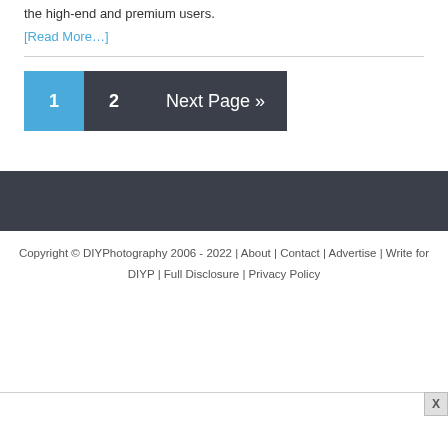the high-end and premium users.
[Read More…]
1  2  Next Page »
Copyright © DIYPhotography 2006 - 2022 | About | Contact | Advertise | Write for DIYP | Full Disclosure | Privacy Policy